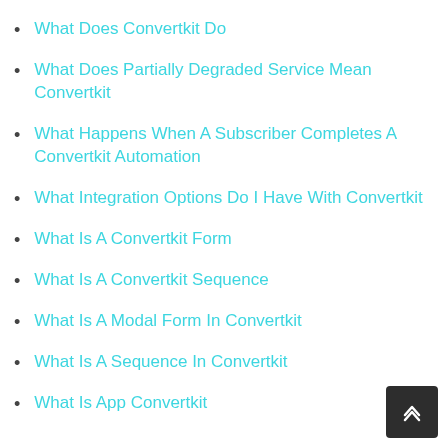What Does Convertkit Do
What Does Partially Degraded Service Mean Convertkit
What Happens When A Subscriber Completes A Convertkit Automation
What Integration Options Do I Have With Convertkit
What Is A Convertkit Form
What Is A Convertkit Sequence
What Is A Modal Form In Convertkit
What Is A Sequence In Convertkit
What Is App Convertkit